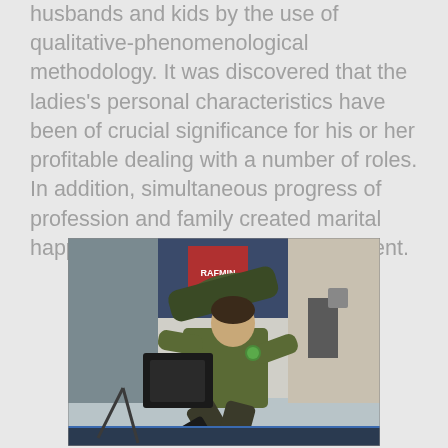husbands and kids by the use of qualitative-phenomenological methodology. It was discovered that the ladies's personal characteristics have been of crucial significance for his or her profitable dealing with a number of roles. In addition, simultaneous progress of profession and family created marital happiness and a sense of achievement.
[Figure (photo): A woman in military/camouflage uniform crouching and operating or handling military equipment (appears to be a rocket launcher or similar weapon system) at what looks like a military exhibition or display. Background shows exhibition booth with signage including 'RAFMIN'.]